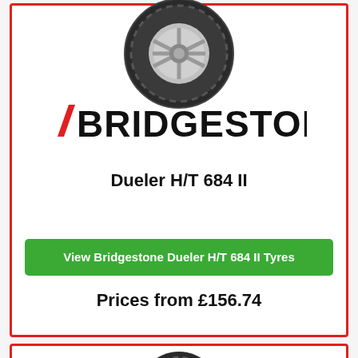[Figure (photo): Bridgestone Dueler H/T 684 II tyre photo - top card]
[Figure (logo): Bridgestone logo with red diagonal stripe on letter B]
Dueler H/T 684 II
View Bridgestone Dueler H/T 684 II Tyres
Prices from £156.74
[Figure (photo): Second tyre photo - bottom card, partially visible]